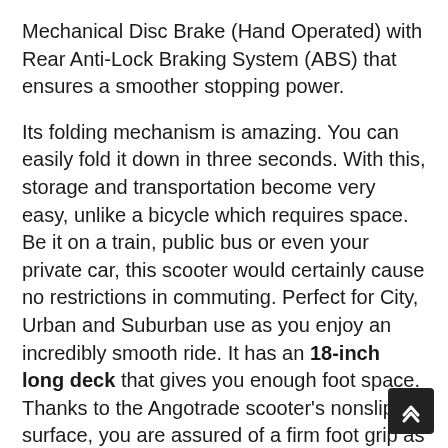Mechanical Disc Brake (Hand Operated) with Rear Anti-Lock Braking System (ABS) that ensures a smoother stopping power.
Its folding mechanism is amazing. You can easily fold it down in three seconds. With this, storage and transportation become very easy, unlike a bicycle which requires space. Be it on a train, public bus or even your private car, this scooter would certainly cause no restrictions in commuting. Perfect for City, Urban and Suburban use as you enjoy an incredibly smooth ride. It has an 18-inch long deck that gives you enough foot space. Thanks to the Angotrade scooter's nonslip surface, you are assured of a firm foot grip as you scoot away with ease. Also, this scooter has an adjustable handlebar which comes with a soft rubber and comfortable hand grips. Hence it is highly recommended.